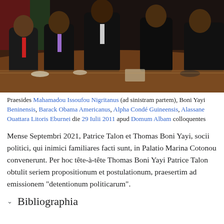[Figure (photo): Leaders seated at a conference table in a meeting room. Shows Mahamadou Issoufou of Niger, Boni Yayi of Benin, Barack Obama of the United States, Alpha Condé of Guinea, and Alassane Ouattara of Ivory Coast on July 29, 2011 at the White House.]
Praesides Mahamadou Issoufou Nigritanus (ad sinistram partem), Boni Yayi Beninensis, Barack Obama Americanus, Alpha Condé Guineensis, Alassane Ouattara Litoris Eburnei die 29 Iulii 2011 apud Domum Albam colloquentes
Mense Septembri 2021, Patrice Talon et Thomas Boni Yayi, socii politici, qui inimici familiares facti sunt, in Palatio Marina Cotonou convenerunt. Per hoc tête-à-tête Thomas Boni Yayi Patrice Talon obtulit seriem propositionum et postulationum, praesertim ad emissionem "detentionum politicarum".
Bibliographia